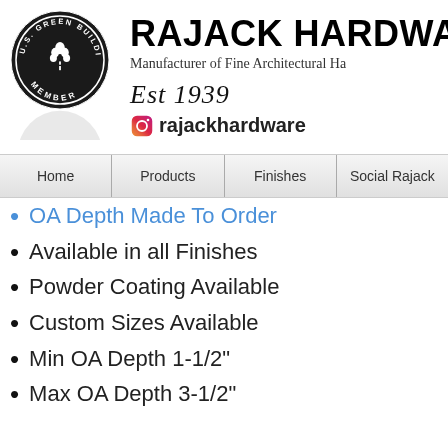[Figure (logo): U.S. Green Building Council Member circular badge logo in black and white]
RAJACK HARDWARE
Manufacturer of Fine Architectural Hardware
Est 1939
rajackhardware
Home | Products | Finishes | Social Rajack
OA Depth Made To Order
Available in all Finishes
Powder Coating Available
Custom Sizes Available
Min OA Depth 1-1/2"
Max OA Depth 3-1/2"